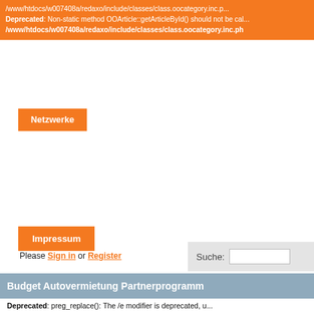/www/htdocs/w007408a/redaxo/include/classes/class.oocategory.inc.p... Deprecated: Non-static method OOArticle::getArticleById() should not be called statically in /www/htdocs/w007408a/redaxo/include/classes/class.oocategory.inc.ph...
Netzwerke
Impressum
Please Sign in or Register
Suche:
Budget Autovermietung Partnerprogramm
Deprecated: preg_replace(): The /e modifier is deprecated, use preg_replace_callback instead in /www/htdocs/w007408a/redaxo/include/classes/class.text... on line 768